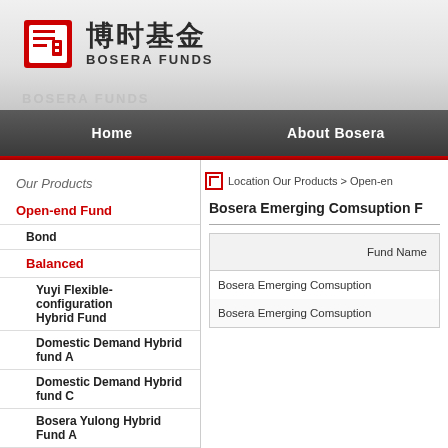[Figure (logo): Bosera Funds logo with red square icon, Chinese characters 博时基金, and BOSERA FUNDS text]
Home   About Bosera
Our Products
Location Our Products > Open-en
Open-end Fund
Bond
Balanced
Yuyi Flexible-configuration Hybrid Fund
Domestic Demand Hybrid fund A
Domestic Demand Hybrid fund C
Bosera Yulong Hybrid Fund A
Bosera Yulong Hybrid Fund C
Bosera Industry Impetus Hybrid Fund A
| Fund Name |
| --- |
| Bosera Emerging Comsuption |
| Bosera Emerging Comsuption |
Bosera Emerging Comsuption